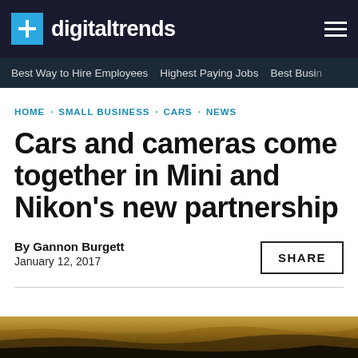digitaltrends
Best Way to Hire Employees · Highest Paying Jobs · Best Busin
HOME · SMALL BUSINESS · CARS · NEWS
Cars and cameras come together in Mini and Nikon's new partnership
By Gannon Burgett
January 12, 2017
SHARE
[Figure (photo): Bottom strip showing a rocky/sandy surface, likely outdoor terrain, dark tones at bottom]